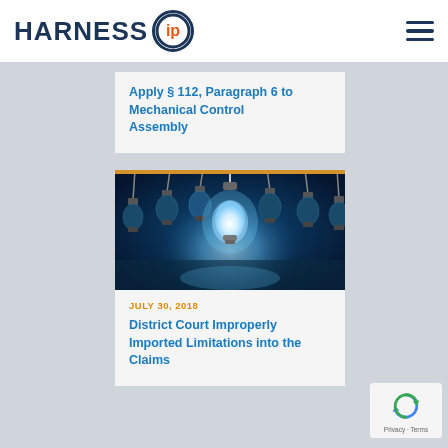HARNESS IP
Apply § 112, Paragraph 6 to Mechanical Control Assembly
[Figure (photo): Multiple hanging incandescent light bulbs in a dark blue setting, with one bulb glowing brightly in the center surrounded by unlit bulbs]
JULY 30, 2018
District Court Improperly Imported Limitations into the Claims